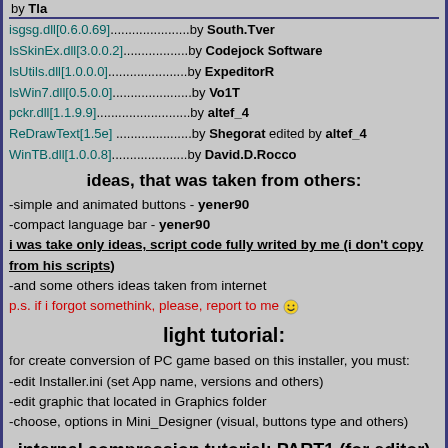by Tla
isgsg.dll[0.6.0.69].......................by South.Tver
IsSkinEx.dll[3.0.0.2]...................by Codejock Software
IsUtils.dll[1.0.0.0]........................by ExpeditorR
IsWin7.dll[0.5.0.0].......................by Vo1T
pckr.dll[1.1.9.9]...........................by altef_4
ReDrawText[1.5e] .....................by Shegorat edited by altef_4
WinTB.dll[1.0.0.8]......................by David.D.Rocco
ideas, that was taken from others:
-simple and animated buttons - yener90
-compact language bar - yener90
i was take only ideas, script code fully writed by me (i don't copy from his scripts)
-and some others ideas taken from internet
p.s. if i forgot somethink, please, report to me :)
light tutorial:
for create conversion of PC game based on this installer, you must:
-edit Installer.ini (set App name, versions and others)
-edit graphic that located in Graphics folder
-choose, options in Mini_Designer (visual, buttons type and others)
internal compression tutorial: PART1 (for editor)
-you must have completed installer.ini and all graphic, fons, video, license,